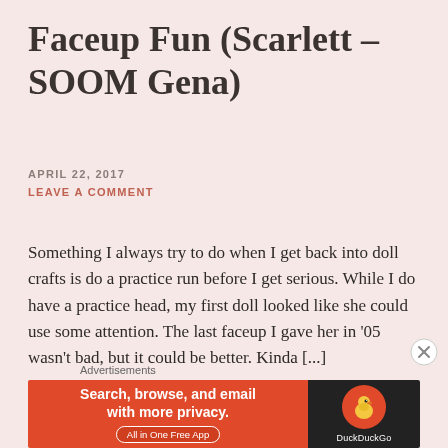Faceup Fun (Scarlett – SOOM Gena)
APRIL 22, 2017
LEAVE A COMMENT
Something I always try to do when I get back into doll crafts is do a practice run before I get serious. While I do have a practice head, my first doll looked like she could use some attention. The last faceup I gave her in '05 wasn't bad, but it could be better. Kinda [...]
Advertisements
[Figure (infographic): DuckDuckGo advertisement banner with orange left panel reading 'Search, browse, and email with more privacy. All in One Free App' and dark right panel with DuckDuckGo duck logo and brand name.]